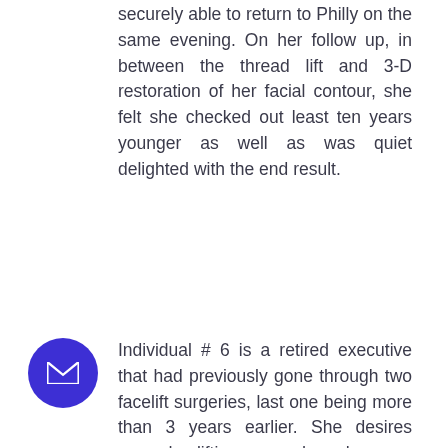securely able to return to Philly on the same evening. On her follow up, in between the thread lift and 3-D restoration of her facial contour, she felt she checked out least ten years younger as well as was quiet delighted with the end result.
Individual # 6 is a retired executive that had previously gone through two facelift surgeries, last one being more than 3 years earlier. She desires upgrade lifting procedure however wants to avoid any type of surgical treatments and also definitely stay clear of any type of anesthetic due to bad experience throughout current hip replacement surgery. After mindful conversation, she undertook Shape string lifting to improve her jowling and also nasolabial line.
Individual # 7 and also # 8 are couples from